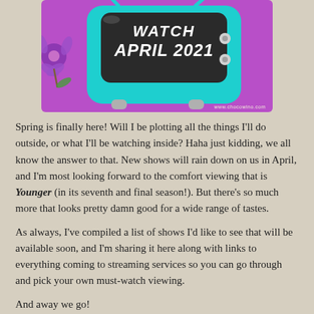[Figure (illustration): A cartoon retro teal TV set with a dark screen showing 'WATCH APRIL 2021' in white handwritten font, on a purple background with floral decorations. Website URL www.chocowino.com shown at bottom right.]
Spring is finally here! Will I be plotting all the things I'll do outside, or what I'll be watching inside? Haha just kidding, we all know the answer to that. New shows will rain down on us in April, and I'm most looking forward to the comfort viewing that is Younger (in its seventh and final season!). But there's so much more that looks pretty damn good for a wide range of tastes.
As always, I've compiled a list of shows I'd like to see that will be available soon, and I'm sharing it here along with links to everything coming to streaming services so you can go through and pick your own must-watch viewing.
And away we go!